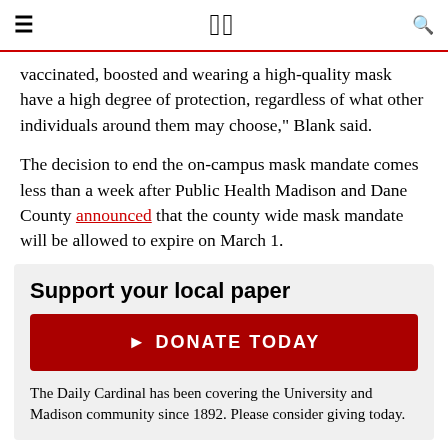DC
vaccinated, boosted and wearing a high-quality mask have a high degree of protection, regardless of what other individuals around them may choose," Blank said.
The decision to end the on-campus mask mandate comes less than a week after Public Health Madison and Dane County announced that the county wide mask mandate will be allowed to expire on March 1.
Support your local paper
DONATE TODAY
The Daily Cardinal has been covering the University and Madison community since 1892. Please consider giving today.